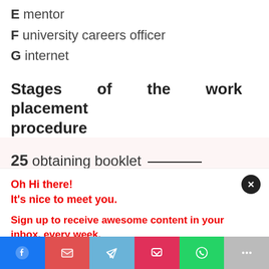E mentor
F university careers officer
G internet
Stages of the work placement procedure
25 obtaining booklet ________
Oh Hi there!
It's nice to meet you.

Sign up to receive awesome content in your inbox, every week.
[Share bar: Messenger, Gmail, Telegram, Pocket, WhatsApp, More]